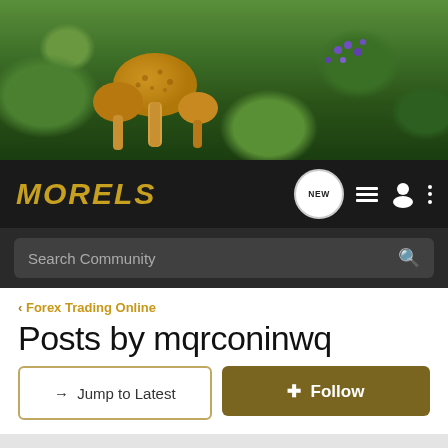[Figure (photo): Hero banner image showing morel mushrooms growing in green forest vegetation with purple flowers]
MORELS
Search Community
< Forex Trading Online
Posts by mqrconinwq
→ Jump to Latest
+ Follow
1 - 1 of 1 Posts
mqrconinwq · Registered
Joined May 8, 2013 · 9 Posts